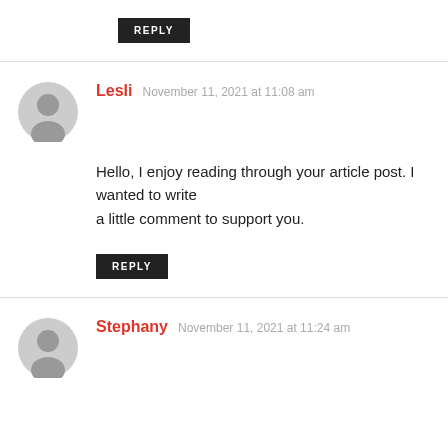REPLY
Lesli  November 11, 2021 at 11:08 am
Hello, I enjoy reading through your article post. I wanted to write a little comment to support you.
REPLY
Stephany  November 11, 2021 at 11:24 am